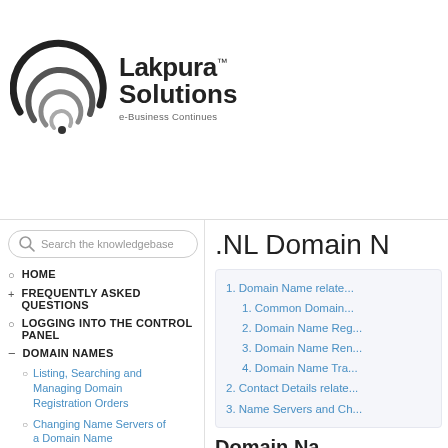[Figure (logo): Lakpura Solutions logo with spiral graphic and tagline 'e-Business Continues']
[Figure (screenshot): Search the knowledgebase input box with rounded border and search icon]
HOME
+ FREQUENTLY ASKED QUESTIONS
LOGGING INTO THE CONTROL PANEL
— DOMAIN NAMES
Listing, Searching and Managing Domain Registration Orders
Changing Name Servers of a Domain Name
+ Managing Whois or Contact Details of Domain Names
.NL Domain N
1. Domain Name relate...
1. Common Domain...
2. Domain Name Reg...
3. Domain Name Ren...
4. Domain Name Tra...
2. Contact Details relate...
3. Name Servers and Ch...
Domain Na...